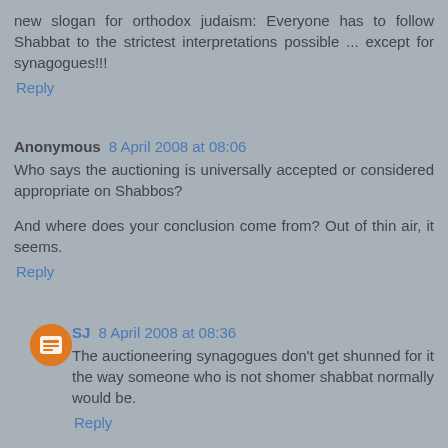new slogan for orthodox judaism: Everyone has to follow Shabbat to the strictest interpretations possible ... except for synagogues!!!
Reply
Anonymous 8 April 2008 at 08:06
Who says the auctioning is universally accepted or considered appropriate on Shabbos?
And where does your conclusion come from? Out of thin air, it seems.
Reply
SJ 8 April 2008 at 08:36
The auctioneering synagogues don't get shunned for it the way someone who is not shomer shabbat normally would be.
Reply